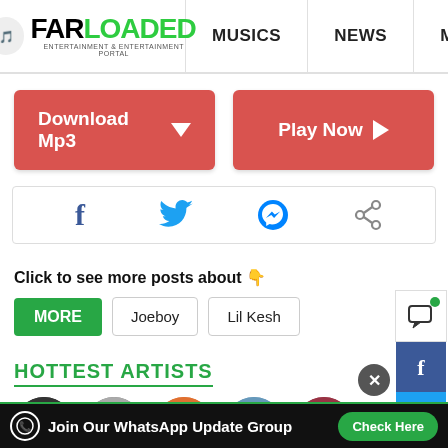FARLOADED | MUSICS | NEWS | MORE
[Figure (screenshot): Download Mp3 and Play Now red buttons]
[Figure (infographic): Social share icons: Facebook, Twitter, Messenger, Share]
Click to see more posts about 👇
MORE
Joeboy
Lil Kesh
HOTTEST ARTISTS
Join Our WhatsApp Update Group  Check Here